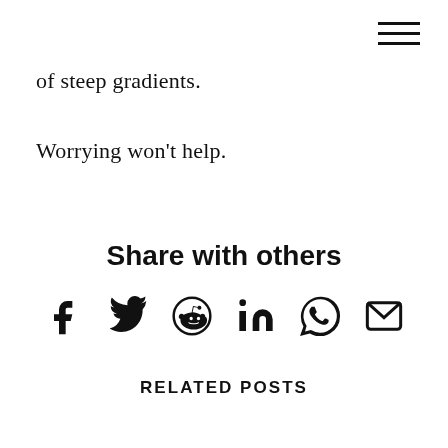of steep gradients.
Worrying won't help.
Share with others
[Figure (infographic): Social sharing icons: Facebook, Twitter, Reddit, LinkedIn, WhatsApp, Email]
RELATED POSTS